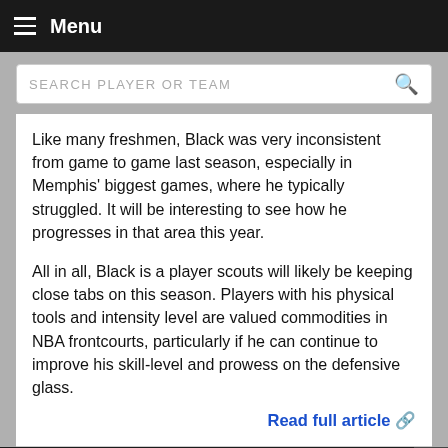Menu
SEARCH PLAYER OR TEAM
Like many freshmen, Black was very inconsistent from game to game last season, especially in Memphis' biggest games, where he typically struggled. It will be interesting to see how he progresses in that area this year.
All in all, Black is a player scouts will likely be keeping close tabs on this season. Players with his physical tools and intensity level are valued commodities in NBA frontcourts, particularly if he can continue to improve his skill-level and prowess on the defensive glass.
Read full article 🔗
5 Out Motion Offense - 5 out offense
Learn how to run the 5 out motion offense from the Pro, College, and HS coaches coachtube.com